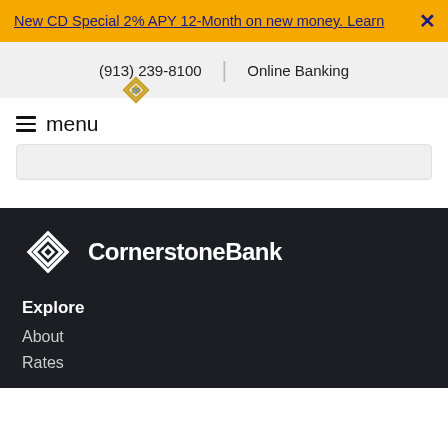New CD Special 2% APY 12-Month on new money. Learn ×
(913) 239-8100  |  Online Banking
menu
[Figure (logo): CornerstoneBank logo with layered diamond icon in white on dark background]
Explore
About
Rates